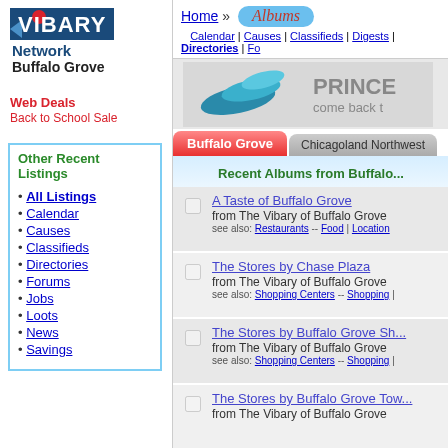[Figure (logo): Vibary Network logo with red dot, blue arrow, and dark blue background text]
Network
Buffalo Grove
Web Deals
Back to School Sale
Other Recent Listings
All Listings
Calendar
Causes
Classifieds
Directories
Forums
Jobs
Loots
News
Savings
Home » Albums
Calendar | Causes | Classifieds | Digests | Directories | Fo...
[Figure (illustration): Princess Cruises advertisement banner with wave logo]
Buffalo Grove   Chicagoland Northwest
Recent Albums from Buffalo...
A Taste of Buffalo Grove
from The Vibary of Buffalo Grove
see also: Restaurants -- Food | Location...
The Stores by Chase Plaza
from The Vibary of Buffalo Grove
see also: Shopping Centers -- Shopping |...
The Stores by Buffalo Grove Sh...
from The Vibary of Buffalo Grove
see also: Shopping Centers -- Shopping |...
The Stores by Buffalo Grove Tow...
from The Vibary of Buffalo Grove